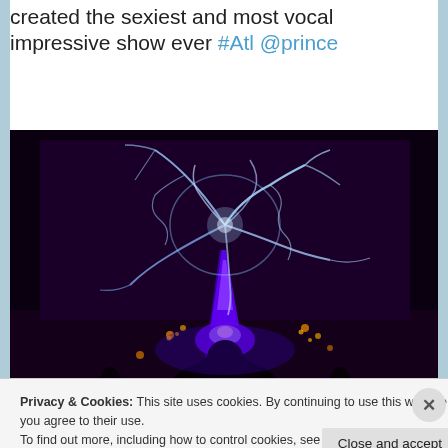created the sexiest and most vocal impressive show ever #Atl @prince
[Figure (photo): Concert photo showing a purple laser/plasma light display on a screen with glowing tendrils of light, a blue/purple beam from the stage, silhouetted audience members, and orange glowing lights in the crowd]
Privacy & Cookies: This site uses cookies. By continuing to use this website, you agree to their use. To find out more, including how to control cookies, see here: Cookie Policy